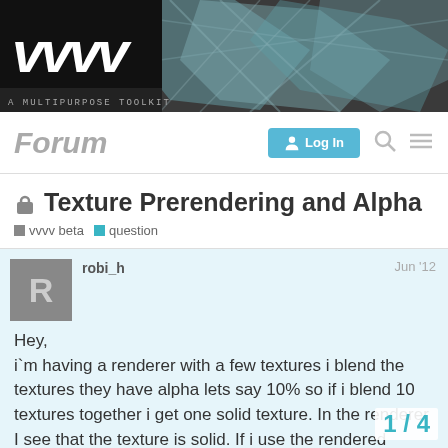[Figure (screenshot): vvvv forum website banner with logo and teal geometric background]
Forum
Texture Prerendering and Alpha
vvvv beta   question
robi_h   Jun '12
Hey,
i`m having a renderer with a few textures i blend the textures they have alpha lets say 10% so if i blend 10 textures together i get one solid texture. In the renderer I see that the texture is solid. If i use the rendered texture with dxtexture in a shader to mask the whole thing, it seems that the rendered texture is not treated as one texture it seems that the alp... are still in the texture. In the shader i simpl
1 / 4